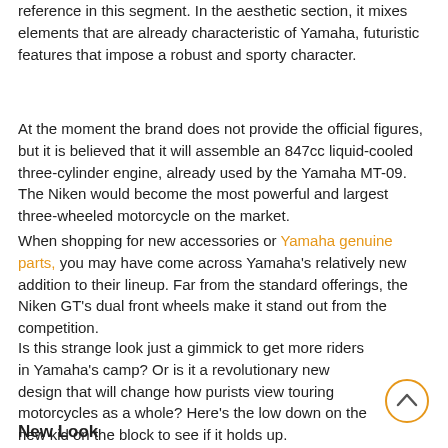reference in this segment. In the aesthetic section, it mixes elements that are already characteristic of Yamaha, futuristic features that impose a robust and sporty character.
At the moment the brand does not provide the official figures, but it is believed that it will assemble an 847cc liquid-cooled three-cylinder engine, already used by the Yamaha MT-09. The Niken would become the most powerful and largest three-wheeled motorcycle on the market.
When shopping for new accessories or Yamaha genuine parts, you may have come across Yamaha's relatively new addition to their lineup. Far from the standard offerings, the Niken GT's dual front wheels make it stand out from the competition.
Is this strange look just a gimmick to get more riders in Yamaha's camp? Or is it a revolutionary new design that will change how purists view touring motorcycles as a whole? Here's the low down on the new kid on the block to see if it holds up.
New Look